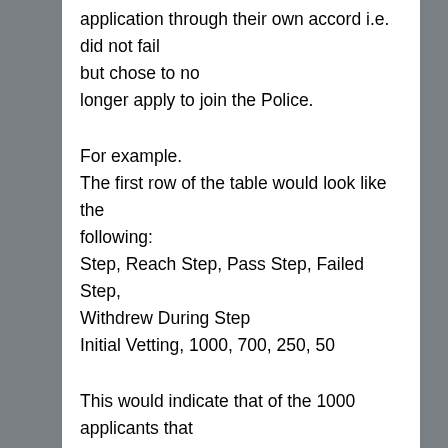application through their own accord i.e. did not fail but chose to no longer apply to join the Police.
For example. The first row of the table would look like the following: Step, Reach Step, Pass Step, Failed Step, Withdrew During Step Initial Vetting, 1000, 700, 250, 50
This would indicate that of the 1000 applicants that reached the Initial Vetting step, 700 of these passed the step, 250